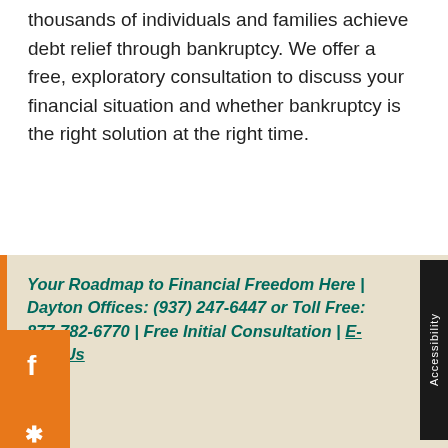thousands of individuals and families achieve debt relief through bankruptcy. We offer a free, exploratory consultation to discuss your financial situation and whether bankruptcy is the right solution at the right time.
Your Roadmap to Financial Freedom Here | Dayton Offices: (937) 247-6447 or Toll Free: 877-782-6770 | Free Initial Consultation | E-Mail Us
kruptcy Mistakes to Avoid
Attorney Eric Stamps handles Chapter 7 and Chapter 13 consumer bankruptcies in the Dayton area and surrounding counties of Ohio. He can identify any problems with your petition and address solutions, such as delaying your petition to avoid issues relating to the timing